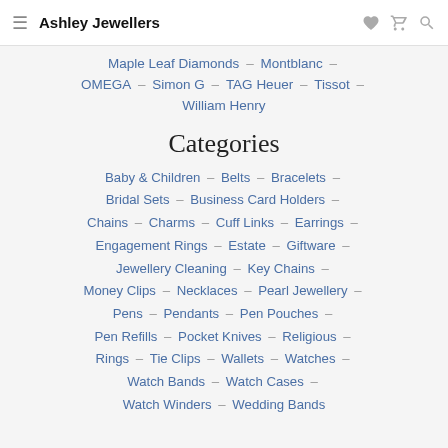Ashley Jewellers
Maple Leaf Diamonds – Montblanc – OMEGA – Simon G – TAG Heuer – Tissot – William Henry
Categories
Baby & Children – Belts – Bracelets – Bridal Sets – Business Card Holders – Chains – Charms – Cuff Links – Earrings – Engagement Rings – Estate – Giftware – Jewellery Cleaning – Key Chains – Money Clips – Necklaces – Pearl Jewellery – Pens – Pendants – Pen Pouches – Pen Refills – Pocket Knives – Religious – Rings – Tie Clips – Wallets – Watches – Watch Bands – Watch Cases – Watch Winders – Wedding Bands